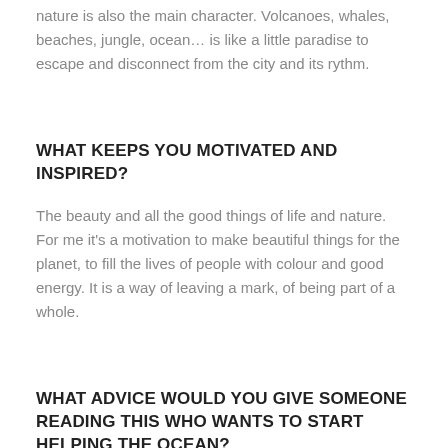nature is also the main character. Volcanoes, whales, beaches, jungle, ocean… is like a little paradise to escape and disconnect from the city and its rythm.
WHAT KEEPS YOU MOTIVATED AND INSPIRED?
The beauty and all the good things of life and nature. For me it's a motivation to make beautiful things for the planet, to fill the lives of people with colour and good energy. It is a way of leaving a mark, of being part of a whole.
WHAT ADVICE WOULD YOU GIVE SOMEONE READING THIS WHO WANTS TO START HELPING THE OCEAN?
You have to passionately fight for what you want.